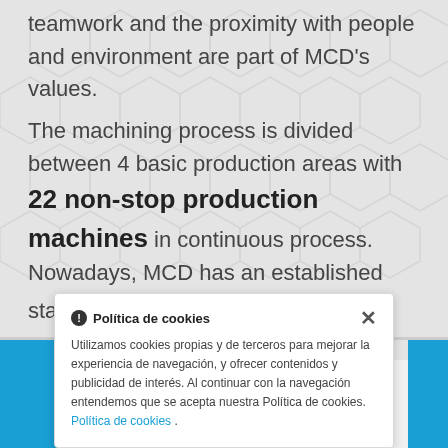teamwork and the proximity with people and environment are part of MCD's values.
The machining process is divided between 4 basic production areas with 22 non-stop production machines in continuous process. Nowadays, MCD has an established staff of 25 employees.
[Figure (screenshot): Cookie consent banner in Spanish (Política de cookies) with close button, text about cookies usage, and a link to Política de cookies policy.]